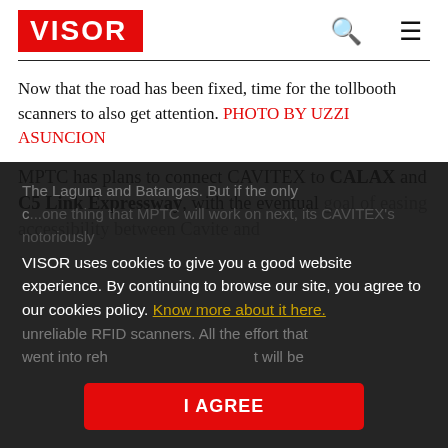VISOR
Now that the road has been fixed, time for the tollbooth scanners to also get attention. PHOTO BY UZZI ASUNCION
MPTC has plans to connect CAVITEX to CALAX and C5 Link Expressway, with the eventual goal of easing accessibility between Cavite and The Longest destination Batangas. But if the only one thing that MPTC will work on next, its CAVITEX's notoriously unreliable RFID scanners. All the effort that went into reh... will be
VISOR uses cookies to give you a good website experience. By continuing to browse our site, you agree to our cookies policy. Know more about it here.
I AGREE